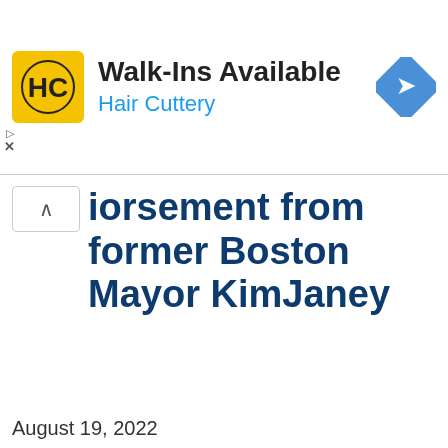[Figure (other): Hair Cuttery advertisement banner with logo, 'Walk-Ins Available' headline, 'Hair Cuttery' brand name in blue, and a navigation/directions icon on the right]
...orsement from former Boston Mayor KimJaney
August 19, 2022